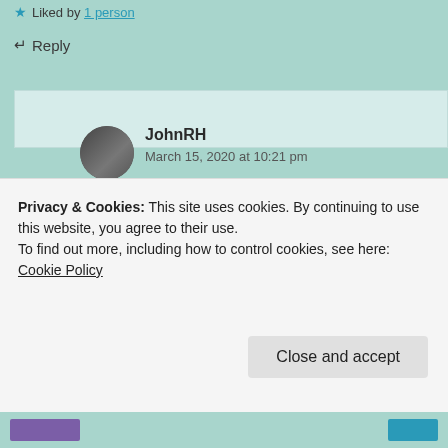★ Liked by 1 person
↵ Reply
JohnRH
March 15, 2020 at 10:21 pm
Thank you! 🙏
★ Like
Privacy & Cookies: This site uses cookies. By continuing to use this website, you agree to their use.
To find out more, including how to control cookies, see here: Cookie Policy
Close and accept